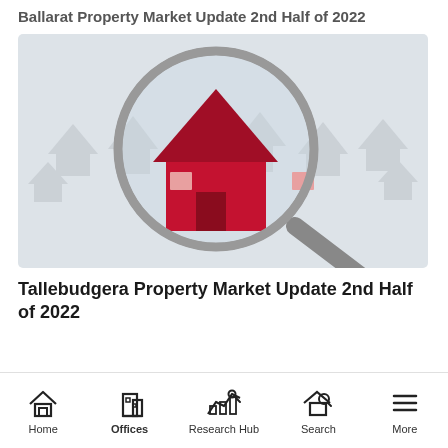Ballarat Property Market Update 2nd Half of 2022
[Figure (photo): A magnifying glass focusing on a red miniature house model among many white miniature house models, symbolizing property search.]
Tallebudgera Property Market Update 2nd Half of 2022
Home | Offices | Research Hub | Search | More